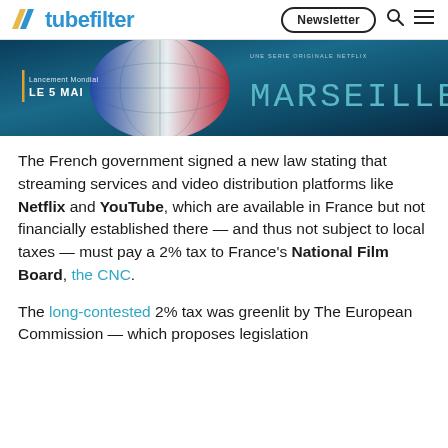tubefilter | Newsletter
[Figure (photo): Marseille Netflix series promotional image showing a globe with French flag colors, text 'Lancement Mondial LE 5 MAI' on the left and 'MARSEILLE' in large teal letters on the right, with 'UNE SERIE ORIGINALE NETFLIX' above]
The French government signed a new law stating that streaming services and video distribution platforms like Netflix and YouTube, which are available in France but not financially established there — and thus not subject to local taxes — must pay a 2% tax to France's National Film Board, the CNC.
The long-contested 2% tax was greenlit by The European Commission — which proposes legislation